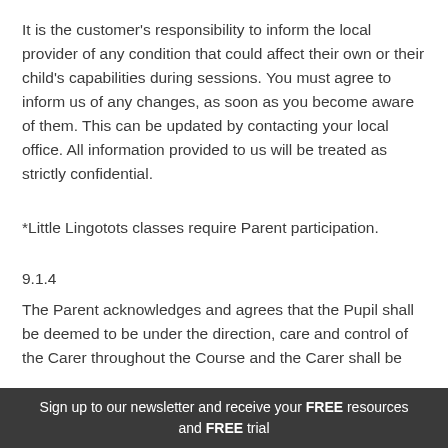It is the customer's responsibility to inform the local provider of any condition that could affect their own or their child's capabilities during sessions. You must agree to inform us of any changes, as soon as you become aware of them. This can be updated by contacting your local office. All information provided to us will be treated as strictly confidential.
*Little Lingotots classes require Parent participation.
9.1.4
The Parent acknowledges and agrees that the Pupil shall be deemed to be under the direction, care and control of the Carer throughout the Course and the Carer shall be
Sign up to our newsletter and receive your FREE resources and FREE trial